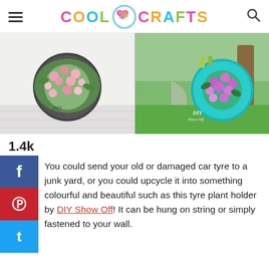COOL CRAFTS
[Figure (photo): Two photos of tyre plant holders with flowers - left shows white wall with pink flowers in a tyre, right shows a turquoise tyre with purple/pink flowers hanging on a tree in a garden]
1.4k
You could send your old or damaged car tyre to a junk yard, or you could upcycle it into something colourful and beautiful such as this tyre plant holder by DIY Show Off! It can be hung on string or simply fastened to your wall.